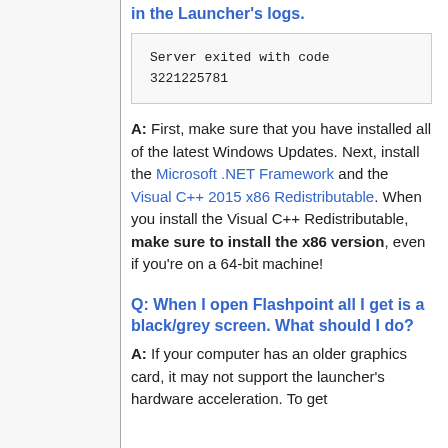in the Launcher's logs.
Server exited with code 3221225781
A: First, make sure that you have installed all of the latest Windows Updates. Next, install the Microsoft .NET Framework and the Visual C++ 2015 x86 Redistributable. When you install the Visual C++ Redistributable, make sure to install the x86 version, even if you're on a 64-bit machine!
Q: When I open Flashpoint all I get is a black/grey screen. What should I do?
A: If your computer has an older graphics card, it may not support the launcher's hardware acceleration. To get